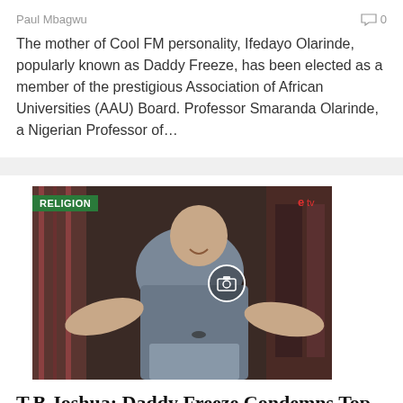Paul Mbagwu
0
The mother of Cool FM personality, Ifedayo Olarinde, popularly known as Daddy Freeze, has been elected as a member of the prestigious Association of African Universities (AAU) Board. Professor Smaranda Olarinde, a Nigerian Professor of…
[Figure (photo): A man (Daddy Freeze) sitting in a studio chair, smiling, wearing a grey shirt. A 'RELIGION' badge appears in the top left. A camera/gallery icon is overlaid on the image.]
T.B Joshua: Daddy Freeze Condemns Top Pastors Over Funeral Turnout
Paul Mbagwu
0
Controversial On-Air Personality, OAP Daddy Freeze, has